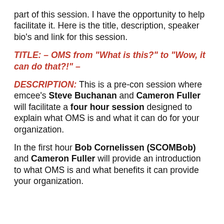part of this session. I have the opportunity to help facilitate it. Here is the title, description, speaker bio’s and link for this session.
TITLE: – OMS from “What is this?” to “Wow, it can do that?!” –
DESCRIPTION: This is a pre-con session where emcee’s Steve Buchanan and Cameron Fuller will facilitate a four hour session designed to explain what OMS is and what it can do for your organization.
In the first hour Bob Cornelissen (SCOMBob) and Cameron Fuller will provide an introduction to what OMS is and what benefits it can provide your organization.